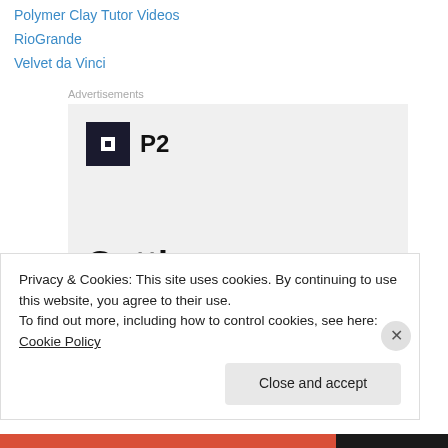Polymer Clay Tutor Videos
RioGrande
Velvet da Vinci
Advertisements
[Figure (screenshot): Advertisement banner for P2 product showing P2 logo (dark square icon with white square cutout) and bold headline text 'Getting your team on the']
Privacy & Cookies: This site uses cookies. By continuing to use this website, you agree to their use.
To find out more, including how to control cookies, see here: Cookie Policy
Close and accept